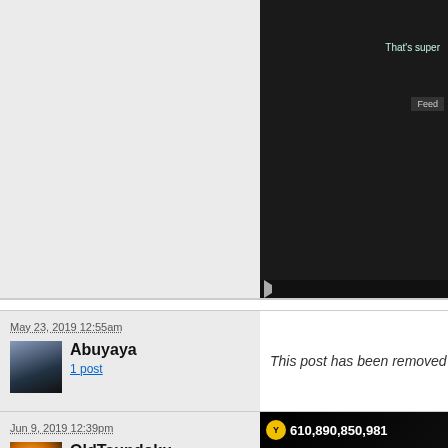[Figure (screenshot): Forum post layout with gray left panel and dark video screenshot on right showing game with 'That's super' text overlay]
May 23, 2019 12:55am
Abuyaya
1 post
[Figure (photo): User avatar for Abuyaya]
This post has been removed
Jun 9, 2019 12:39pm
OldTsundoku
17 posts
[Figure (screenshot): Game screenshot showing scores: Y 610,890,850,981 | G 487,641,322 | B 75...]